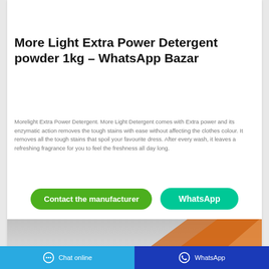[Figure (photo): Top portion of a detergent powder product image (yellow/orange bottle), partially cropped]
More Light Extra Power Detergent powder 1kg – WhatsApp Bazar
Morelight Extra Power Detergent. More Light Detergent comes with Extra power and its enzymatic action removes the tough stains with ease without affecting the clothes colour. It removes all the tough stains that spoil your favourite dress. After every wash, it leaves a refreshing fragrance for you to feel the freshness all day long.
[Figure (photo): Bottom portion of a detergent product image showing orange/yellow packaging, partially cropped]
Chat online    WhatsApp